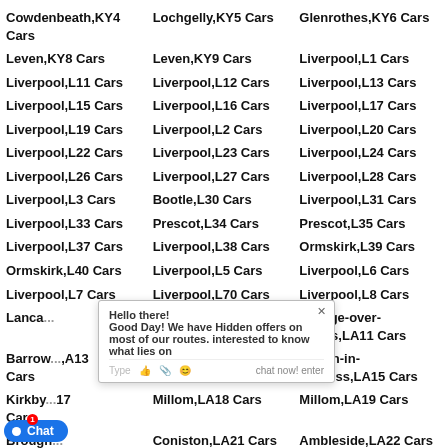Cowdenbeath,KY4 Cars
Lochgelly,KY5 Cars
Glenrothes,KY6 Cars
Leven,KY8 Cars
Leven,KY9 Cars
Liverpool,L1 Cars
Liverpool,L11 Cars
Liverpool,L12 Cars
Liverpool,L13 Cars
Liverpool,L15 Cars
Liverpool,L16 Cars
Liverpool,L17 Cars
Liverpool,L19 Cars
Liverpool,L2 Cars
Liverpool,L20 Cars
Liverpool,L22 Cars
Liverpool,L23 Cars
Liverpool,L24 Cars
Liverpool,L26 Cars
Liverpool,L27 Cars
Liverpool,L28 Cars
Liverpool,L3 Cars
Bootle,L30 Cars
Liverpool,L31 Cars
Liverpool,L33 Cars
Prescot,L34 Cars
Prescot,L35 Cars
Liverpool,L37 Cars
Liverpool,L38 Cars
Ormskirk,L39 Cars
Ormskirk,L40 Cars
Liverpool,L5 Cars
Liverpool,L6 Cars
Liverpool,L7 Cars
Liverpool,L70 Cars
Liverpool,L8 Cars
Lanca...
Sedbergh,LA10 Cars
Grange-over-Sands,LA11 Cars
Barrow-...,A13 Cars
Barrow-in-Furness,LA14 Cars
Dalton-in-Furness,LA15 Cars
Kirkby...17 Cars
Millom,LA18 Cars
Millom,LA19 Cars
Broughton-in-furness,LA20 Cars
Coniston,LA21 Cars
Ambleside,LA22 Cars
M...le,LA3 Cars
Morecambe,LA4 Cars
Carnforth,LA5 Cars